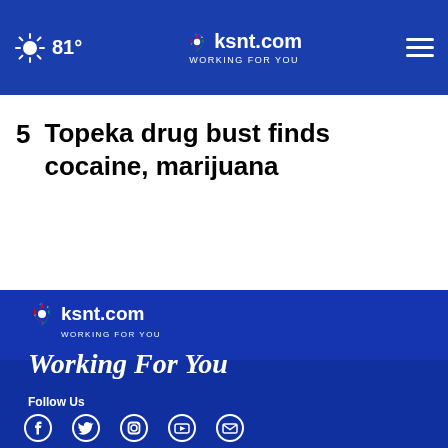81° | ksnt.com WORKING FOR YOU
5  Topeka drug bust finds cocaine, marijuana
[Figure (logo): ksnt.com logo with NBC peacock and tagline WORKING FOR YOU in footer]
Working For You
Follow Us
[Figure (infographic): Social media icons: Facebook, Twitter, Instagram, YouTube, Email]